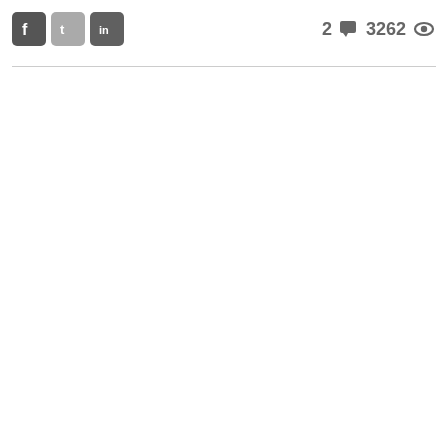[Figure (screenshot): Social media share buttons: Facebook (f), Twitter (t), LinkedIn (in) icons on the left; comment count '2' with speech bubble icon and view count '3262' with eye icon on the right; horizontal divider line below]
2 [comment icon] 3262 [view icon]